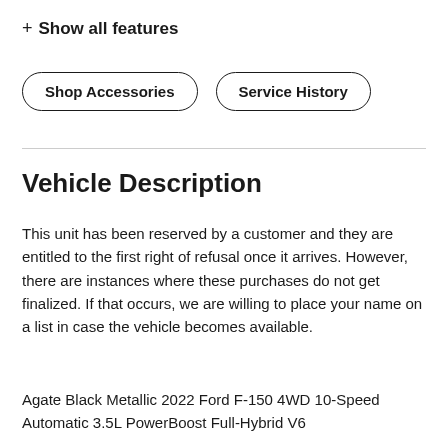+ Show all features
Shop Accessories
Service History
Vehicle Description
This unit has been reserved by a customer and they are entitled to the first right of refusal once it arrives. However, there are instances where these purchases do not get finalized. If that occurs, we are willing to place your name on a list in case the vehicle becomes available.
Agate Black Metallic 2022 Ford F-150 4WD 10-Speed Automatic 3.5L PowerBoost Full-Hybrid V6